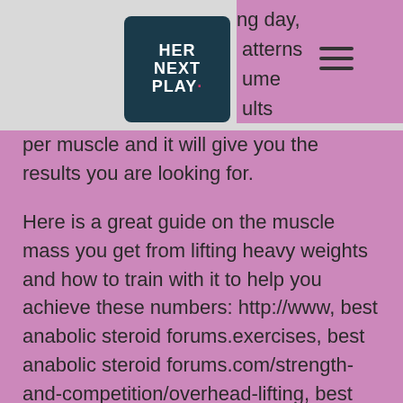[Figure (logo): HER NEXT PLAY logo — dark teal rounded square with white bold text]
ng day, atterns ume ults per muscle and it will give you the results you are looking for.
Here is a great guide on the muscle mass you get from lifting heavy weights and how to train with it to help you achieve these numbers: http://www, best anabolic steroid forums.exercises, best anabolic steroid forums.com/strength-and-competition/overhead-lifting, best anabolic steroid forums.asp , best anabolic steroid forums. Once you have reached your current body fat goals, the next step is to move on to more sophisticated programming.
For example, I have seen someone use a combination of 10 days a week of bench press only, with 5 days being rest days. If you can do this, do so because it doesn't